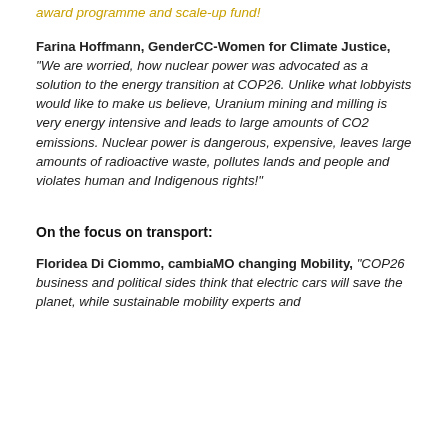award programme and scale-up fund!
Farina Hoffmann, GenderCC-Women for Climate Justice, “We are worried, how nuclear power was advocated as a solution to the energy transition at COP26. Unlike what lobbyists would like to make us believe, Uranium mining and milling is very energy intensive and leads to large amounts of CO2 emissions. Nuclear power is dangerous, expensive, leaves large amounts of radioactive waste, pollutes lands and people and violates human and Indigenous rights!”
On the focus on transport:
Floridea Di Ciommo, cambiaMO changing Mobility, “COP26 business and political sides think that electric cars will save the planet, while sustainable mobility experts and